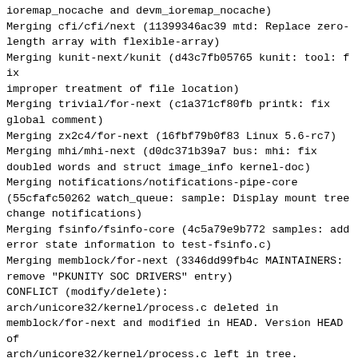ioremap_nocache and devm_ioremap_nocache)
Merging cfi/cfi/next (11399346ac39 mtd: Replace zero-length array with flexible-array)
Merging kunit-next/kunit (d43c7fb05765 kunit: tool: fix improper treatment of file location)
Merging trivial/for-next (c1a371cf80fb printk: fix global comment)
Merging zx2c4/for-next (16fbf79b0f83 Linux 5.6-rc7)
Merging mhi/mhi-next (d0dc371b39a7 bus: mhi: fix doubled words and struct image_info kernel-doc)
Merging notifications/notifications-pipe-core (55cfafc50262 watch_queue: sample: Display mount tree change notifications)
Merging fsinfo/fsinfo-core (4c5a79e9b772 samples: add error state information to test-fsinfo.c)
Merging memblock/for-next (3346dd99fb4c MAINTAINERS: remove "PKUNITY SOC DRIVERS" entry)
CONFLICT (modify/delete):
arch/unicore32/kernel/process.c deleted in memblock/for-next and modified in HEAD. Version HEAD of arch/unicore32/kernel/process.c left in tree.
$ git rm -f arch/unicore32/kernel/process.c
Merging set_fs/set_fs-rw (2750e3608b79 fs: don't allow splice read/write without explicit ops)
CONFLICT (content): Merge conflict in lib/debugobjects.c
CONFLICT (content): Merge conflict in drivers/power/supply/da9030_battery.c
CONFLICT (content): Merge conflict in drivers/acpi/battery.c
CONFLICT (content): Merge conflict in